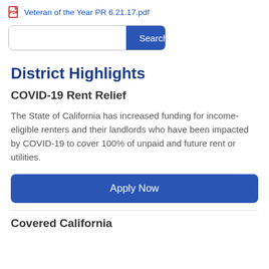Veteran of the Year PR 6.21.17.pdf
District Highlights
COVID-19 Rent Relief
The State of California has increased funding for income-eligible renters and their landlords who have been impacted by COVID-19 to cover 100% of unpaid and future rent or utilities.
Apply Now
Covered California